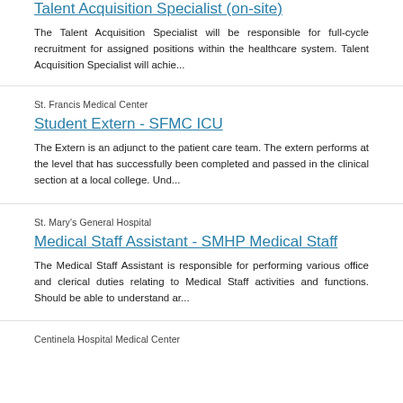Talent Acquisition Specialist (on-site)
The Talent Acquisition Specialist will be responsible for full-cycle recruitment for assigned positions within the healthcare system. Talent Acquisition Specialist will achie…
St. Francis Medical Center
Student Extern - SFMC ICU
The Extern is an adjunct to the patient care team. The extern performs at the level that has successfully been completed and passed in the clinical section at a local college. Und…
St. Mary's General Hospital
Medical Staff Assistant - SMHP Medical Staff
The Medical Staff Assistant is responsible for performing various office and clerical duties relating to Medical Staff activities and functions. Should be able to understand ar…
Centinela Hospital Medical Center